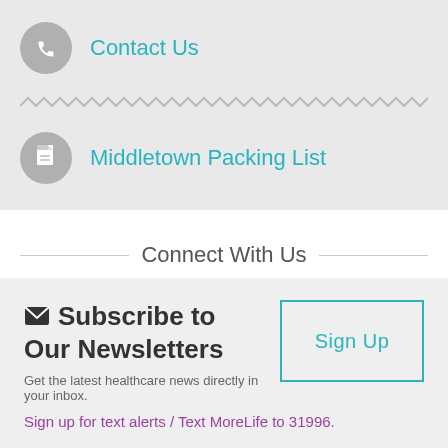Contact Us
Middletown Packing List
Connect With Us
Subscribe to Our Newsletters
Get the latest healthcare news directly in your inbox.
Sign up for text alerts / Text MoreLife to 31996.